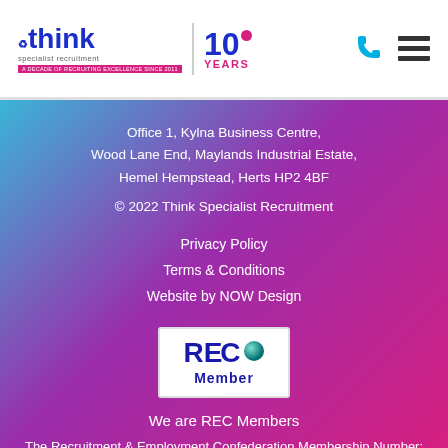[Figure (logo): Think Specialist Recruitment logo with '10 YEARS' badge, navigation phone and hamburger icons]
Office 1, Kylna Business Centre, Wood Lane End, Maylands Industrial Estate, Hemel Hempstead, Herts HP2 4BF
© 2022 Think Specialist Recruitment
Privacy Policy
Terms & Conditions
Website by NOW Design
[Figure (logo): REC Member badge logo — white box with REC text and teal circle, 'Member' text below]
We are REC Members
The Recruitment & Employment Confederation Membership Number: 00092859